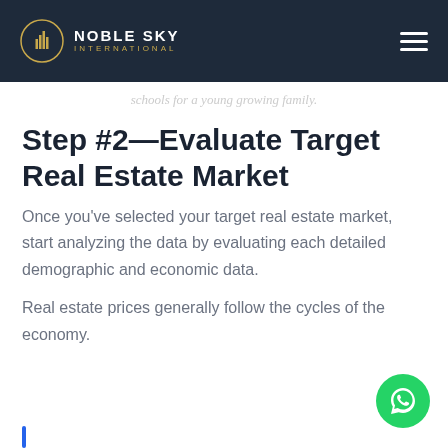NOBLE SKY INTERNATIONAL
schools for a young growing family.
Step #2—Evaluate Target Real Estate Market
Once you've selected your target real estate market, start analyzing the data by evaluating each detailed demographic and economic data.
Real estate prices generally follow the cycles of the economy.